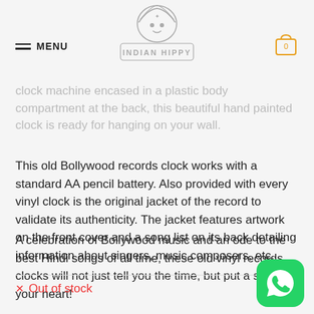MENU | INDIAN HIPPY | [cart: 0]
clock machine encased in a plastic body compartment at the back, this beautiful hand painted clock is ready for hanging on your wall.
This old Bollywood records clock works with a standard AA pencil battery. Also provided with every vinyl clock is the original jacket of the record to validate its authenticity. The jacket features artwork on the front cover and a song list on its back detailing information about singers, music composers, etc.
A celebration of Bollywood music and an ode to the best Hindi songs of all time, these old vinyl records clocks will not just tell you the time, but put a song in your heart!
✕  Out of stock